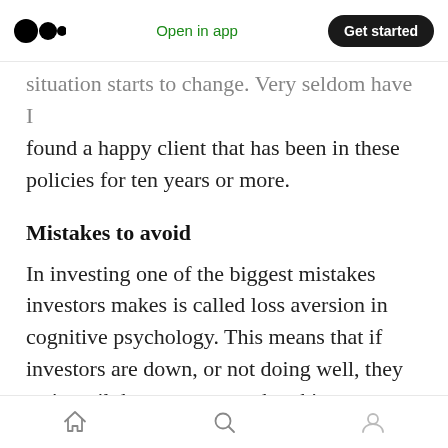Medium logo | Open in app | Get started
situation starts to change. Very seldom have I found a happy client that has been in these policies for ten years or more.
Mistakes to avoid
In investing one of the biggest mistakes investors makes is called loss aversion in cognitive psychology. This means that if investors are down, or not doing well, they wait until the accounts are breaking even before selling.
A simple example would be if you have $100,000 in your account. The value is $95,000. After more
Home | Search | Profile